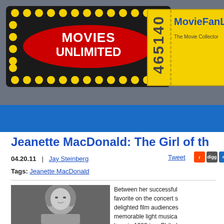[Figure (logo): Movies Unlimited logo - red text on black marquee background with yellow dots, alongside MovieFanLib ticket stub logo]
[Figure (photo): Black and white portrait photo of Jeanette MacDonald as a young woman with curly hair]
Jeanette MacDonald: The Girl of th
04.20.11  |  Jay Steinberg
Tags: Jeanette MacDonald
Between her successful favorite on the concert s delighted film audiences memorable light musica born in 1903 to a Philad